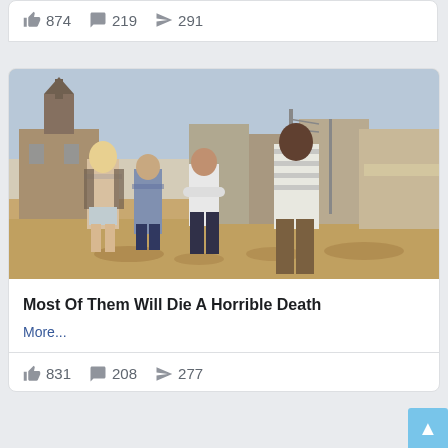874  219  291
[Figure (photo): Four people standing on a dusty small-town street with a church steeple visible in background. From left: blonde woman in floral jacket and shorts, young person in denim jacket, woman with short dark hair in white blouse and jeans, tall Black man in striped shirt.]
Most Of Them Will Die A Horrible Death
More...
831  208  277